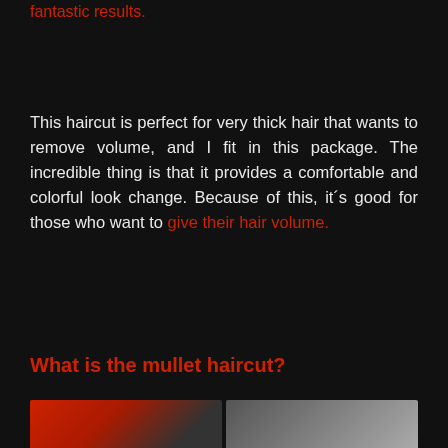fantastic results.
This haircut is perfect for very thick hair that wants to remove volume, and I fit in this package. The incredible thing is that it provides a comfortable and colorful look change. Because of this, it´s good for those who want to give their hair volume.
What is the mullet haircut?
[Figure (photo): Bottom strip showing two photos partially visible at the bottom of the page — left photo has red/warm tones, right photo has grey/cool tones]